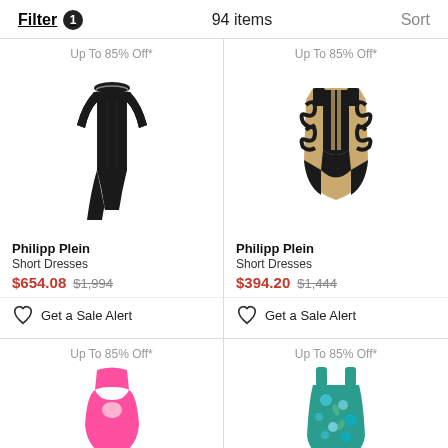Filter 1   94 items   Sort
Up To 85% Off*
[Figure (photo): Black long-sleeve asymmetric mini dress by Philipp Plein with V-neckline and chain detail]
Philipp Plein
Short Dresses
$654.08 $1,994
Get a Sale Alert
Up To 85% Off*
[Figure (photo): Black and gold baroque patterned sleeveless mini dress by Philipp Plein]
Philipp Plein
Short Dresses
$394.20 $1,444
Get a Sale Alert
Up To 85% Off*
[Figure (photo): Pink cutout sleeveless mini dress (partially visible)]
Up To 85% Off*
[Figure (photo): Teal floral print sleeveless mini dress (partially visible)]